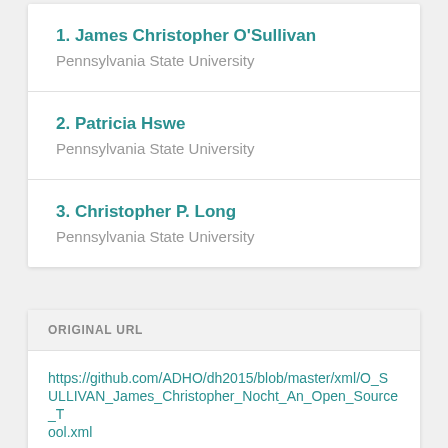1. James Christopher O'Sullivan
Pennsylvania State University
2. Patricia Hswe
Pennsylvania State University
3. Christopher P. Long
Pennsylvania State University
ORIGINAL URL
https://github.com/ADHO/dh2015/blob/master/xml/O_SULLIVAN_James_Christopher_Nocht_An_Open_Source_Tool.xml